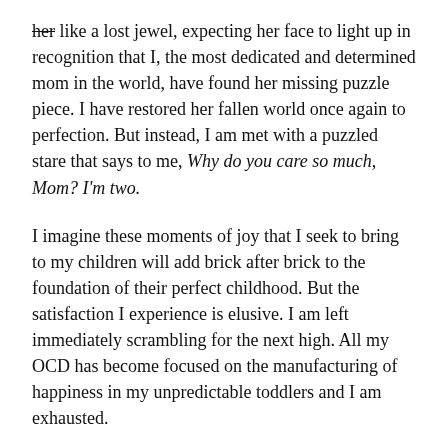her like a lost jewel, expecting her face to light up in recognition that I, the most dedicated and determined mom in the world, have found her missing puzzle piece. I have restored her fallen world once again to perfection. But instead, I am met with a puzzled stare that says to me, Why do you care so much, Mom? I'm two.
I imagine these moments of joy that I seek to bring to my children will add brick after brick to the foundation of their perfect childhood. But the satisfaction I experience is elusive. I am left immediately scrambling for the next high. All my OCD has become focused on the manufacturing of happiness in my unpredictable toddlers and I am exhausted.